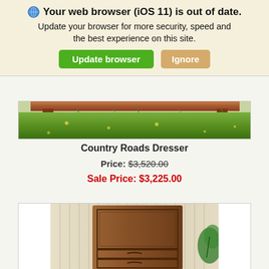Your web browser (iOS 11) is out of date. Update your browser for more security, speed and the best experience on this site. Update browser | Ignore
[Figure (photo): Bottom portion of a wooden outdoor furniture piece (dresser/bench) sitting on grass with yellow wildflowers]
Country Roads Dresser
Price: $3,520.00
Sale Price: $3,225.00
[Figure (photo): A wooden dresser with a large upper panel door and two drawers below, photographed against a striped wallpaper background, with a partial plant visible on the right]